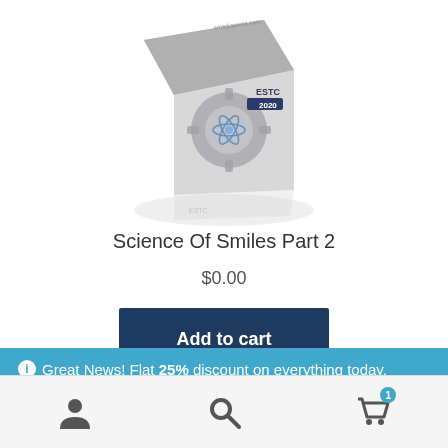[Figure (photo): Product box image for ESTC 2020 Science of Smiles course, showing a gear and atomic/molecular graphic on a silver box with ESTC 2020 branding]
Science Of Smiles Part 2
$0.00
Add to cart
Great News! Flat 25% discount on everything today. Use code: 2022estc25 Dismiss